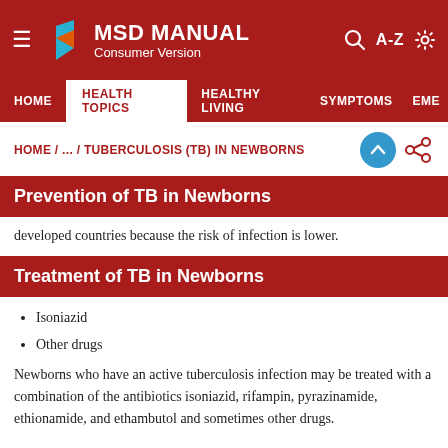MSD MANUAL Consumer Version
HOME / ... / TUBERCULOSIS (TB) IN NEWBORNS
Prevention of TB in Newborns
developed countries because the risk of infection is lower.
Treatment of TB in Newborns
Isoniazid
Other drugs
Newborns who have an active tuberculosis infection may be treated with a combination of the antibiotics isoniazid, rifampin, pyrazinamide, ethionamide, and ethambutol and sometimes other drugs.